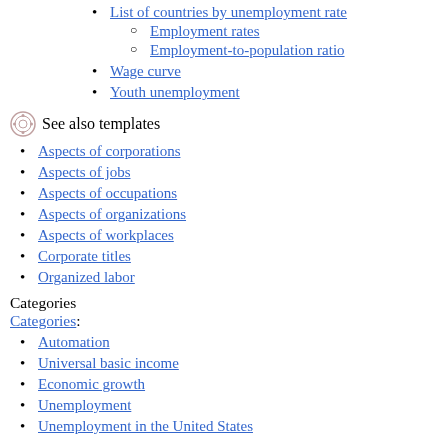List of countries by unemployment rate
Employment rates
Employment-to-population ratio
Wage curve
Youth unemployment
See also templates
Aspects of corporations
Aspects of jobs
Aspects of occupations
Aspects of organizations
Aspects of workplaces
Corporate titles
Organized labor
Categories
Categories:
Automation
Universal basic income
Economic growth
Unemployment
Unemployment in the United States